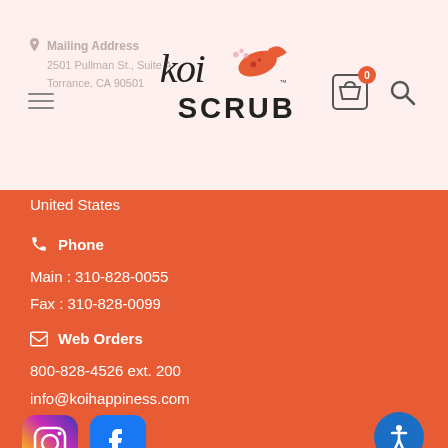Koi Scrubs website header with logo, cart and search icons
Mailing Address
2501 Pullman St., Suite A
Torrance, CA 90501
United States
Phone
Main : 310-828-0055
Fax : 310-828-0099
Web Orders
800-828-4526 ext. 200
info@koihappiness.com
[Figure (logo): Instagram and Facebook social media icons]
INFOMATION
Our Story